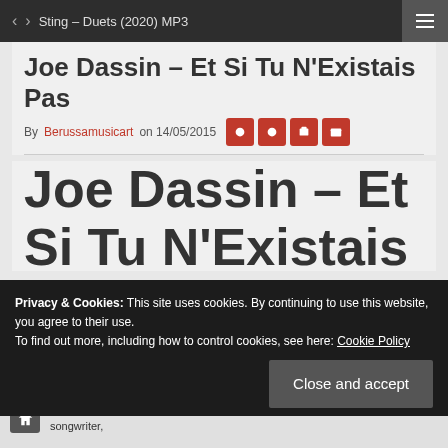Sting – Duets (2020) MP3
Joe Dassin – Et Si Tu N'Existais Pas
By Berussamusicart on 14/05/2015
Joe Dassin – Et Si Tu N'Existais Pas
Privacy & Cookies: This site uses cookies. By continuing to use this website, you agree to their use. To find out more, including how to control cookies, see here: Cookie Policy
Tu N'Existais Pas  description– Joe Dassin , Et Si Tu N'Existais Pas , Singer-songwriter,